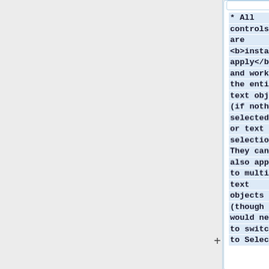* All controls are <b>instant-apply</b> and work on the entire text object (if nothing selected) or text selection. They can also apply to multiple text objects (though you would need to switch to Selector